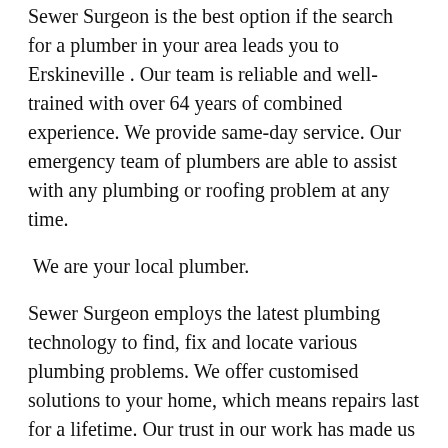Sewer Surgeon is the best option if the search for a plumber in your area leads you to Erskineville . Our team is reliable and well-trained with over 64 years of combined experience. We provide same-day service. Our emergency team of plumbers are able to assist with any plumbing or roofing problem at any time.
We are your local plumber.
Sewer Surgeon employs the latest plumbing technology to find, fix and locate various plumbing problems. We offer customised solutions to your home, which means repairs last for a lifetime. Our trust in our work has made us one of the most respected plumbers in Erskineville .
Every resident of Inner West  can get plumbing services from us. This includes suburbs like Erskineville, Abbotsford, Croydon and more. So when your plumbing's